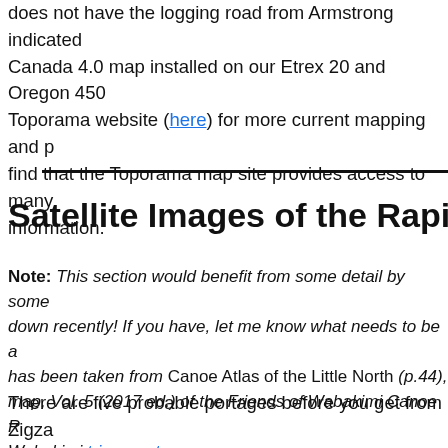does not have the logging road from Armstrong indicated... Canada 4.0 map installed on our Etrex 20 and Oregon 450... Toporama website (here) for more current mapping and p... find that the Toporama map site provides access to many ... information.
Satellite Images of the Rapid...
Note: This section would benefit from some detail by some... down recently!  If you have, let me know what needs to be a... has been taken from Canoe Atlas of the Little North (p.44),... map, Vol. 5 (2017 ed.) of the Friends of Wabakimi Canoe R... Wabakimi trip report.
There are five probable portages before you get from Zigza... overview shows the first 4; there is one more just before u...